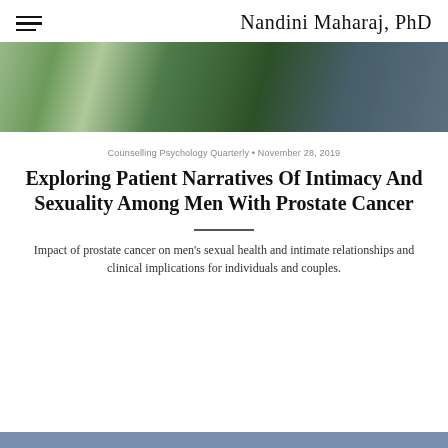Nandini Maharaj, PhD
[Figure (photo): Close-up photo of green cables or tubes against a dark blue/green background, likely medical or laboratory equipment.]
Counselling Psychology Quarterly · November 28, 2019
Exploring Patient Narratives Of Intimacy And Sexuality Among Men With Prostate Cancer
Impact of prostate cancer on men's sexual health and intimate relationships and clinical implications for individuals and couples.